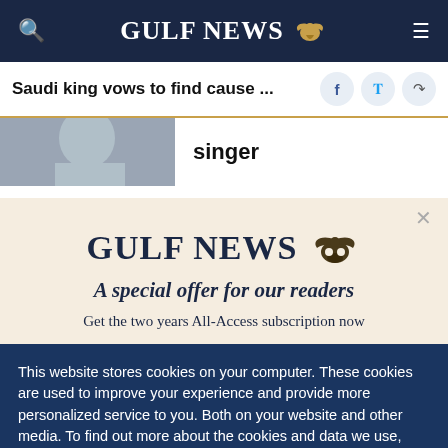GULF NEWS
Saudi king vows to find cause ...
singer
GULF NEWS
A special offer for our readers
Get the two years All-Access subscription now
This website stores cookies on your computer. These cookies are used to improve your experience and provide more personalized service to you. Both on your website and other media. To find out more about the cookies and data we use, please check out our Privacy Policy.